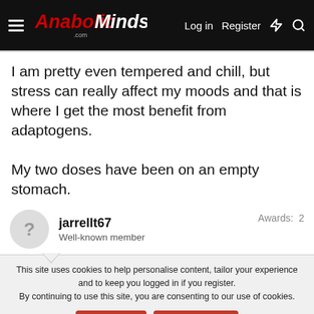AnabolicMinds.com — Log in  Register
I am pretty even tempered and chill, but stress can really affect my moods and that is where I get the most benefit from adaptogens.

My two doses have been on an empty stomach.
jarrellt67
Well-known member
Awards: 2
This site uses cookies to help personalise content, tailor your experience and to keep you logged in if you register.
By continuing to use this site, you are consenting to our use of cookies.
Topic of the Week: The Single Best Supplement You've Taken